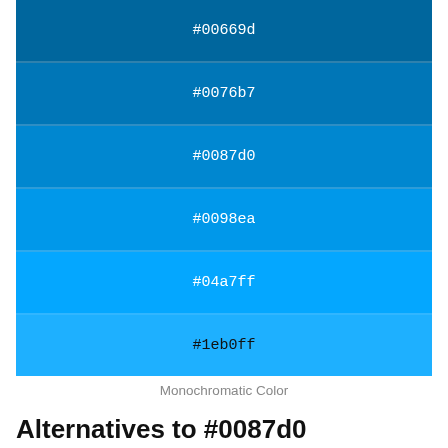[Figure (infographic): Monochromatic color swatches showing shades of blue: #00669d, #0076b7, #0087d0, #0098ea, #04a7ff, #1eb0ff stacked vertically]
Monochromatic Color
Alternatives to #0087d0
Below, you can see some colors close to #0087d0.